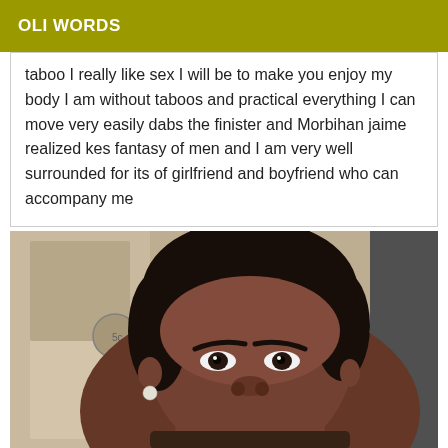OLI WORDS
taboo I really like sex I will be to make you enjoy my body I am without taboos and practical everything I can move very easily dabs the finister and Morbihan jaime realized kes fantasy of men and I am very well surrounded for its of girlfriend and boyfriend who can accompany me
[Figure (photo): Portrait photo of a young Black woman with hair pulled back, wearing a pearl earring, looking directly at camera. Indoor setting with door and wall visible in background.]